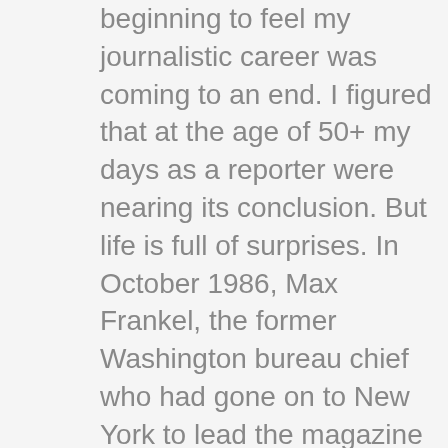beginning to feel my journalistic career was coming to an end. I figured that at the age of 50+ my days as a reporter were nearing its conclusion. But life is full of surprises. In October 1986, Max Frankel, the former Washington bureau chief who had gone on to New York to lead the magazine and the editorial board, was named the next Executive Editor, to succeed the retiring Abe Rosenthal.